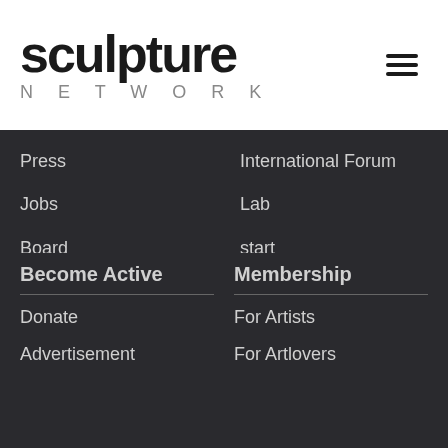sculpture network
Press
Jobs
Board
Team
Privacy Policy
Legal
International Forum
Lab
start
Art - People - Life
Artists
Artworks
Locations
What's on
Opportunities
Become Active
Donate
Advertisement
Membership
For Artists
For Artlovers